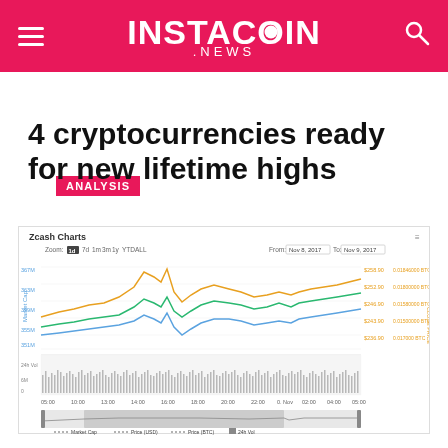INSTACOIN .NEWS
ANALYSIS
4 cryptocurrencies ready for new lifetime highs
[Figure (line-chart): Multi-line chart showing Zcash market cap (orange), price in USD (blue), and price in BTC (green) from Nov 8, 2017 to Nov 9, 2017. Price range approx $236.90 to $258.90. Also shows a 24h volume bar chart below and a smaller range selector at the bottom.]